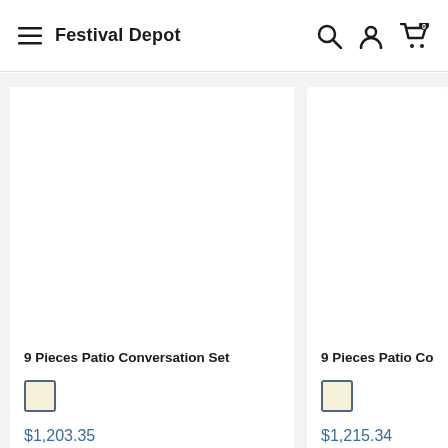Festival Depot
9 Pieces Patio Conversation Set
$1,203.35
9 Pieces Patio Conv
$1,215.34